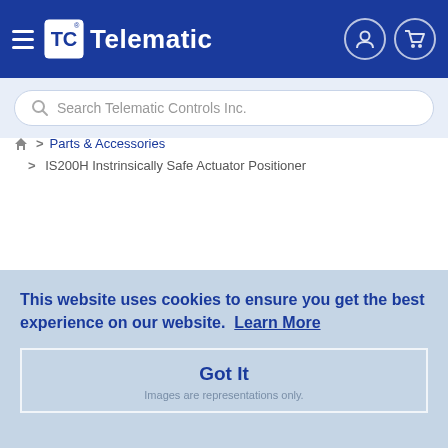[Figure (screenshot): Telematic Controls Inc. website header with navigation bar showing hamburger menu, TC Telematic logo, user icon, and cart icon on blue background]
Search Telematic Controls Inc.
🏠 > Parts & Accessories
> IS200H Instrinsically Safe Actuator Positioner
This website uses cookies to ensure you get the best experience on our website. Learn More
Got It
Images are representations only.